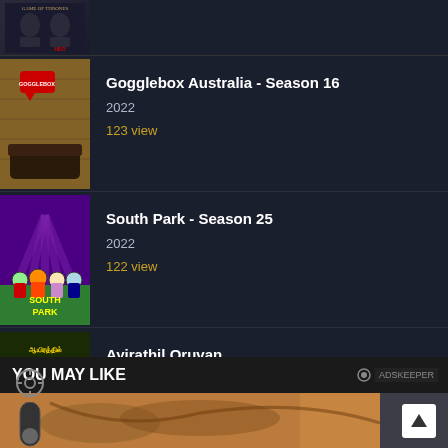[Figure (screenshot): Partial Game of Thrones season thumbnail at top of page]
Gogglebox Australia - Season 16
2022
123 view
South Park - Season 25
2022
122 view
Ayirathil Oruvan
2010
108 view
YOU MAY LIKE
[Figure (photo): Advertisement image strip at bottom with tattoo visible and up arrow button]